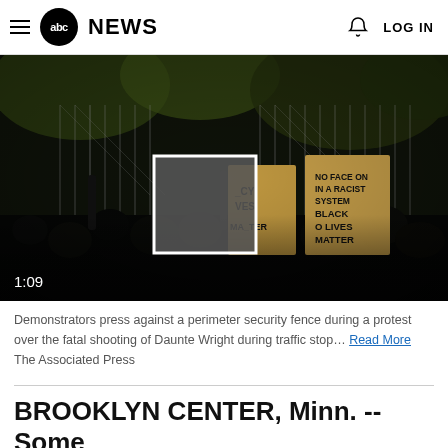abc NEWS  LOG IN
[Figure (photo): Demonstrators pressing against a perimeter security fence during a protest at night, holding Black Lives Matter signs. A blurred square overlay is in the center of the image. Timestamp 1:09 visible in lower left.]
Demonstrators press against a perimeter security fence during a protest over the fatal shooting of Daunte Wright during traffic stop... Read More
The Associated Press
BROOKLYN CENTER, Minn. -- Some